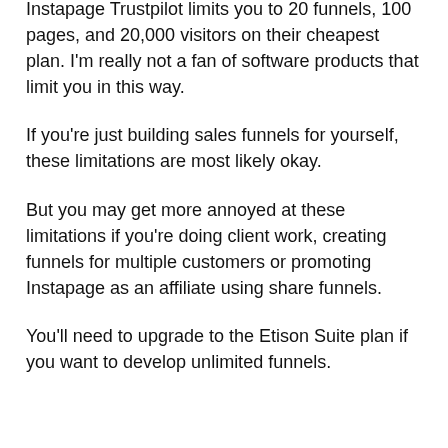Instapage Trustpilot limits you to 20 funnels, 100 pages, and 20,000 visitors on their cheapest plan. I'm really not a fan of software products that limit you in this way.
If you're just building sales funnels for yourself, these limitations are most likely okay.
But you may get more annoyed at these limitations if you're doing client work, creating funnels for multiple customers or promoting Instapage as an affiliate using share funnels.
You'll need to upgrade to the Etison Suite plan if you want to develop unlimited funnels.